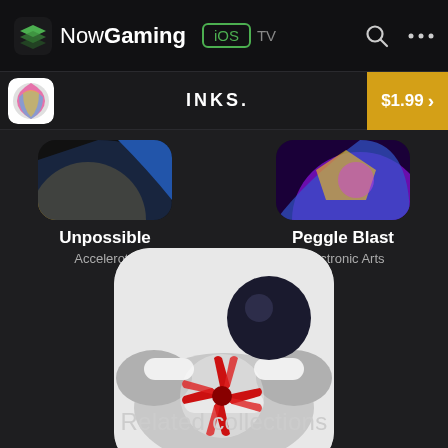NowGaming iOS TV
INKS.  $1.99
Unpossible
Acceleroto
Peggle Blast
Electronic Arts
[Figure (screenshot): App icon for Perchang game — white background with robotic mechanical arms and a red/dark spinning pinwheel element, plus a dark sphere]
Perchang
Perchang
Related collections